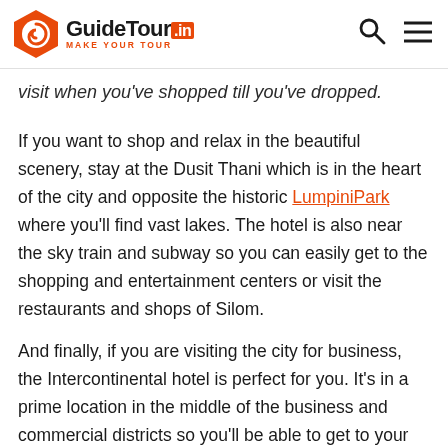GuideTour.in MAKE YOUR TOUR
visit when you've shopped till you've dropped.
If you want to shop and relax in the beautiful scenery, stay at the Dusit Thani which is in the heart of the city and opposite the historic LumpiniPark where you'll find vast lakes. The hotel is also near the sky train and subway so you can easily get to the shopping and entertainment centers or visit the restaurants and shops of Silom.
And finally, if you are visiting the city for business, the Intercontinental hotel is perfect for you. It's in a prime location in the middle of the business and commercial districts so you'll be able to get to your destinations quickly or you can use the Chidlom BTS sky train which is close to the hotel or walk into the central